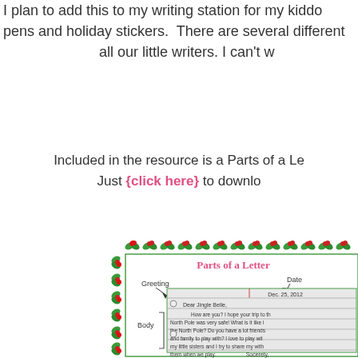I plan to add this to my writing station for my kiddo pens and holiday stickers. There are several different all our little writers. I can't w
Included in the resource is a Parts of a Le Just {click here} to downlo
[Figure (illustration): A worksheet titled 'Parts of a Letter' with a holly border decoration. Shows a letter template with labels for Greeting, Date, Body, and Sincerely. The letter is addressed to Jingle Belle with text about the North Pole.]